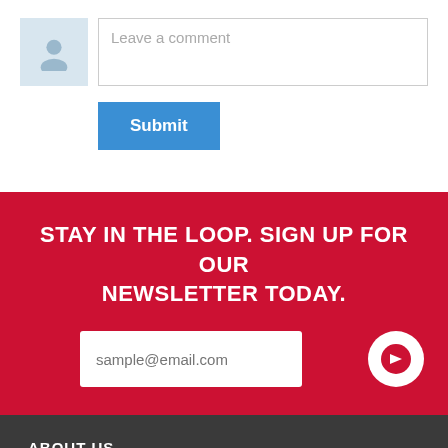[Figure (other): Comment input area with avatar/user icon placeholder on the left and a text field labeled 'Leave a comment' on the right]
Submit
STAY IN THE LOOP. SIGN UP FOR OUR NEWSLETTER TODAY.
sample@email.com
ABOUT US
INDUSTRIES